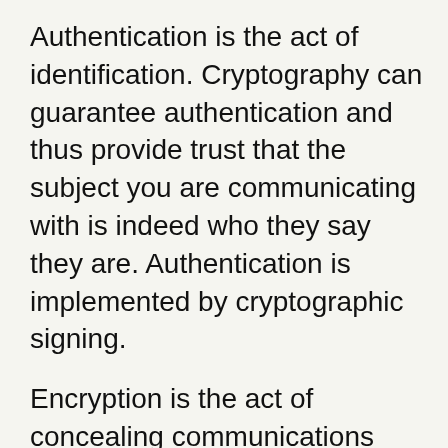Authentication is the act of identification. Cryptography can guarantee authentication and thus provide trust that the subject you are communicating with is indeed who they say they are. Authentication is implemented by cryptographic signing.
Encryption is the act of concealing communications from unintended audiences. When a communication is encrypted it is guaranteed to be viewable only by the intended party.
Authentication and encryption are used together to device a notion of trust in our communicating the internet...